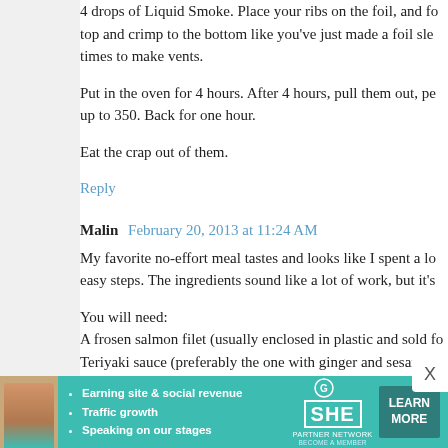4 drops of Liquid Smoke. Place your ribs on the foil, and fold the top and crimp to the bottom like you've just made a foil sle times to make vents.
Put in the oven for 4 hours. After 4 hours, pull them out, pe up to 350. Back for one hour.
Eat the crap out of them.
Reply
Malin  February 20, 2013 at 11:24 AM
My favorite no-effort meal tastes and looks like I spent a lo easy steps. The ingredients sound like a lot of work, but it's
You will need:
A frosen salmon filet (usually enclosed in plastic and sold fo
Teriyaki sauce (preferably the one with ginger and sesame
rice
Water (2 parts water for 1 part rice)
A pinch of salt
Put the water and salt in a pot and set to boil.
While you wait for the water to boil, take the salmon minutes
[Figure (infographic): SHE Partner Network advertisement banner with teal background, woman photo, bullet points: Earning site & social revenue, Traffic growth, Speaking on our stages. SHE logo, LEARN MORE button.]